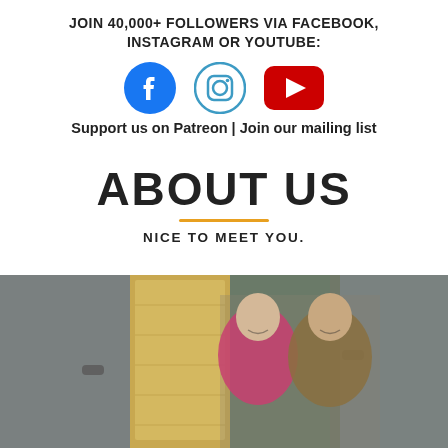JOIN 40,000+ FOLLOWERS VIA FACEBOOK, INSTAGRAM OR YOUTUBE:
[Figure (illustration): Three social media icons: Facebook (blue circle with white f), Instagram (white camera icon with blue/teal circle outline), YouTube (red rectangle with white play button)]
Support us on Patreon | Join our mailing list
ABOUT US
NICE TO MEET YOU.
[Figure (photo): A couple smiling inside or in front of a van with wooden interior conversion. Woman on left wearing pink fleece, man on right wearing plaid shirt. Van doors open, green trees in background.]